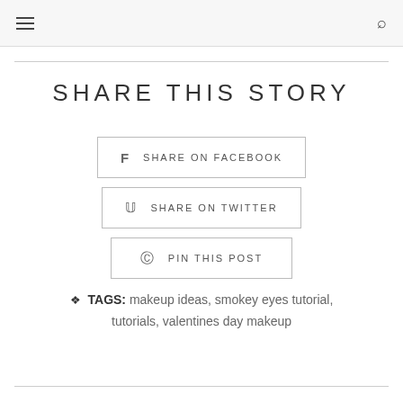≡  🔍
SHARE THIS STORY
f  SHARE ON FACEBOOK
𝕥  SHARE ON TWITTER
𝕡  PIN THIS POST
TAGS: makeup ideas, smokey eyes tutorial, tutorials, valentines day makeup